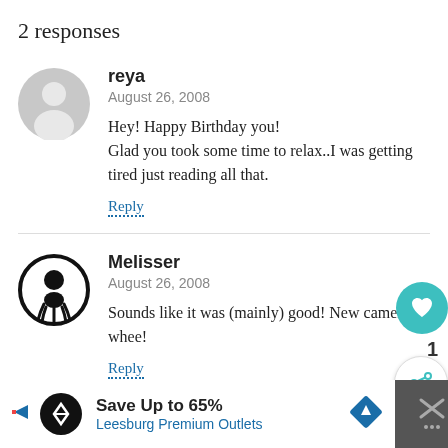2 responses
reya
August 26, 2008

Hey! Happy Birthday you!
Glad you took some time to relax..I was getting tired just reading all that.
Reply
Melisser
August 26, 2008

Sounds like it was (mainly) good! New camera, whee!
Reply
Save Up to 65%
Leesburg Premium Outlets